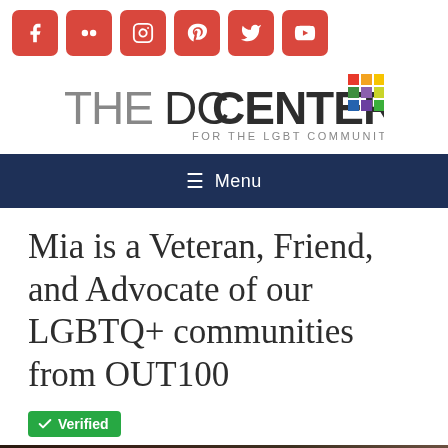[Figure (logo): Social media icons row: Facebook, Flickr, Instagram, Pinterest, Twitter, YouTube — red rounded square buttons]
[Figure (logo): The DC Center for the LGBT Community logo with colorful grid squares]
≡ Menu
Mia is a Veteran, Friend, and Advocate of our LGBTQ+ communities from OUT100
✔ Verified
[Figure (photo): Partial photo visible at bottom of page, dark tones]